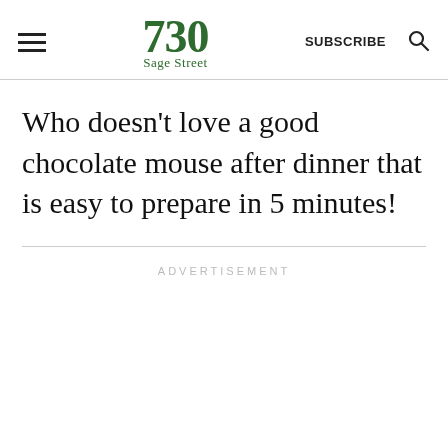730 Sage Street — SUBSCRIBE
Who doesn't love a good chocolate mouse after dinner that is easy to prepare in 5 minutes!
ADVERTISEMENT